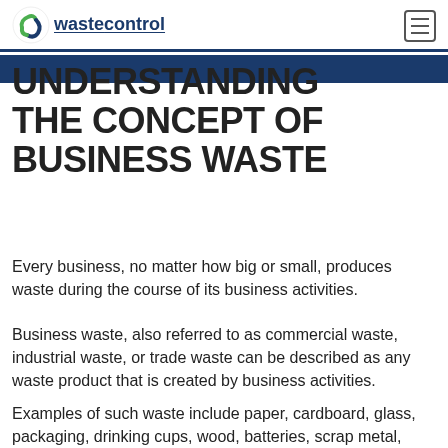wastecontrol
UNDERSTANDING THE CONCEPT OF BUSINESS WASTE
Every business, no matter how big or small, produces waste during the course of its business activities.
Business waste, also referred to as commercial waste, industrial waste, or trade waste can be described as any waste product that is created by business activities.
Examples of such waste include paper, cardboard, glass, packaging, drinking cups, wood, batteries, scrap metal, plastics, steel cans, office furniture, printer cartridges,